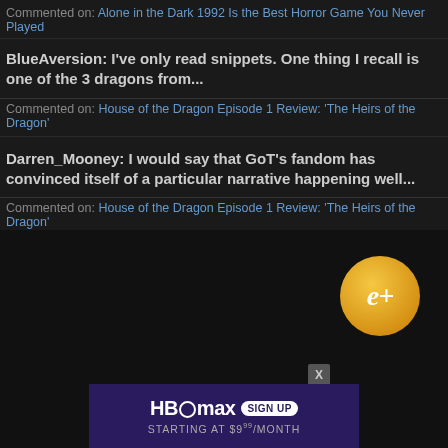Commented on: Alone in the Dark 1992 Is the Best Horror Game You Never Played
BlueAversion: I've only read snippets. One thing I recall is one of the 3 dragons from...
Commented on: House of the Dragon Episode 1 Review: 'The Heirs of the Dragon'
Darren_Mooney: I would say that GoT's fandom has convinced itself of a particular narrative happening well...
Commented on: House of the Dragon Episode 1 Review: 'The Heirs of the Dragon'
[Figure (logo): Gold circular badge with italic 'e+' text]
[Figure (infographic): HBO Max advertisement banner - SIGN UP STARTING AT $9.99/MONTH]